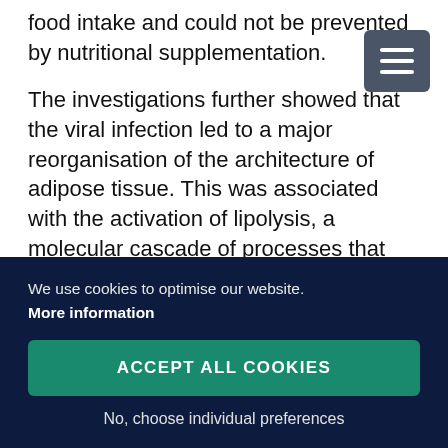food intake and could not be prevented by nutritional supplementation.
The investigations further showed that the viral infection led to a major reorganisation of the architecture of adipose tissue. This was associated with the activation of lipolysis, a molecular cascade of processes that the body uses to mobilise its fat deposits. "The surprising thing was", says Hatoon Baazim, lead author of the study and PhD student at the CeMM, "that none of the inflammatory mediators known to trigger mechanisms such as these...
[Figure (other): Navigation menu button icon (three horizontal lines/hamburger menu) in dark slate color, positioned top right]
We use cookies to optimise our website.
More information
ACCEPT ALL COOKIES
No, choose individual preferences